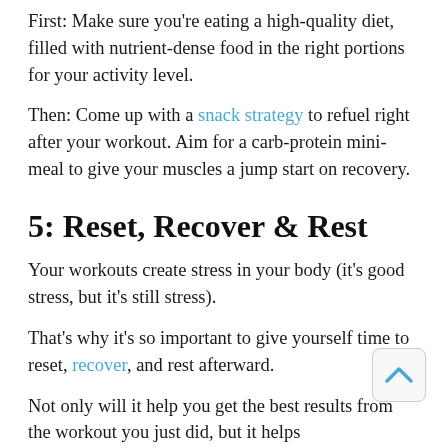First: Make sure you're eating a high-quality diet, filled with nutrient-dense food in the right portions for your activity level.
Then: Come up with a snack strategy to refuel right after your workout. Aim for a carb-protein mini-meal to give your muscles a jump start on recovery.
5: Reset, Recover & Rest
Your workouts create stress in your body (it's good stress, but it's still stress).
That's why it's so important to give yourself time to reset, recover, and rest afterward.
Not only will it help you get the best results from the workout you just did, but it helps